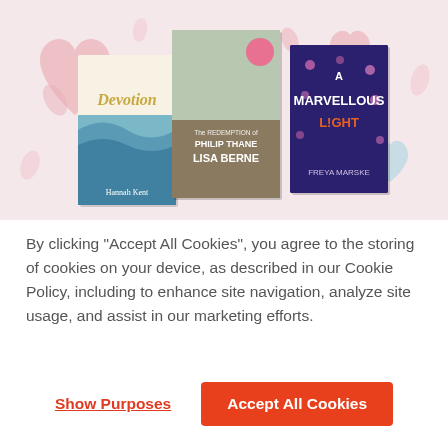[Figure (illustration): Promotional banner with pink/rose background, decorative hearts and rose petal shapes in pink and light blue, featuring three book covers: 'Devotion' by Hannah Kent (left), 'The Redemption of Philip Thane' by Lisa Berne (center, prominent), and 'A Marvellous Light' by Freya Marske (right, dark purple cover).]
By clicking “Accept All Cookies”, you agree to the storing of cookies on your device, as described in our Cookie Policy, including to enhance site navigation, analyze site usage, and assist in our marketing efforts.
Show Purposes
Accept All Cookies